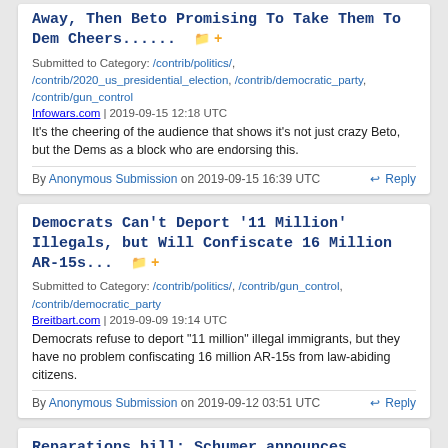Away, Then Beto Promising To Take Them To Dem Cheers...... [folder icon] [plus icon]
Submitted to Category: /contrib/politics/, /contrib/2020_us_presidential_election, /contrib/democratic_party, /contrib/gun_control
Infowars.com | 2019-09-15 12:18 UTC
It's the cheering of the audience that shows it's not just crazy Beto, but the Dems as a block who are endorsing this.
By Anonymous Submission on 2019-09-15 16:39 UTC    Reply
Democrats Can't Deport '11 Million' Illegals, but Will Confiscate 16 Million AR-15s... [folder icon] [plus icon]
Submitted to Category: /contrib/politics/, /contrib/gun_control, /contrib/democratic_party
Breitbart.com | 2019-09-09 19:14 UTC
Democrats refuse to deport "11 million" illegal immigrants, but they have no problem confiscating 16 million AR-15s from law-abiding citizens.
By Anonymous Submission on 2019-09-12 03:51 UTC    Reply
Reparations bill: Schumer announces support for legislation establishing commission to study reparations... [folder icon] [plus icon]